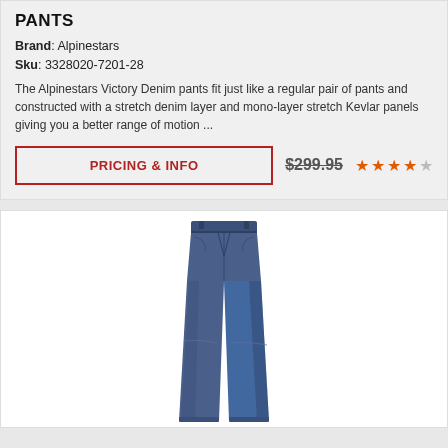PANTS
Brand: Alpinestars
Sku: 3328020-7201-28
The Alpinestars Victory Denim pants fit just like a regular pair of pants and constructed with a stretch denim layer and mono-layer stretch Kevlar panels giving you a better range of motion ...
PRICING & INFO  $299.95  ★★★★☆
[Figure (photo): Photo of dark blue denim jeans (Alpinestars Victory Denim pants) displayed upright against a white background.]